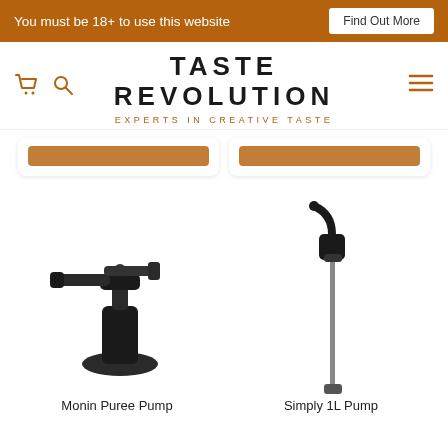You must be 18+ to use this website  Find Out More
TASTE REVOLUTION
EXPERTS IN CREATIVE TASTE
[Figure (photo): Monin Puree Pump product image - black pump dispenser]
Monin Puree Pump
[Figure (photo): Simply 1L Pump product image - tall slim pump dispenser]
Simply 1L Pump